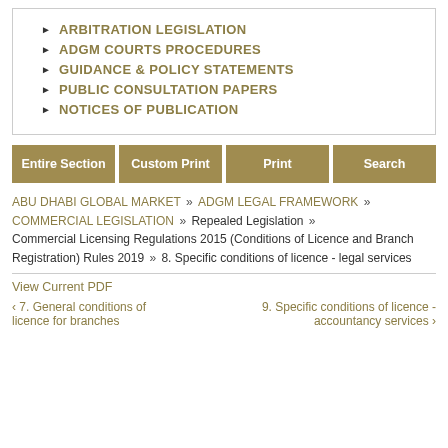ARBITRATION LEGISLATION
ADGM COURTS PROCEDURES
GUIDANCE & POLICY STATEMENTS
PUBLIC CONSULTATION PAPERS
NOTICES OF PUBLICATION
Entire Section | Custom Print | Print | Search
ABU DHABI GLOBAL MARKET » ADGM LEGAL FRAMEWORK » COMMERCIAL LEGISLATION » Repealed Legislation » Commercial Licensing Regulations 2015 (Conditions of Licence and Branch Registration) Rules 2019 » 8. Specific conditions of licence - legal services
View Current PDF
‹ 7. General conditions of licence for branches
9. Specific conditions of licence - accountancy services ›